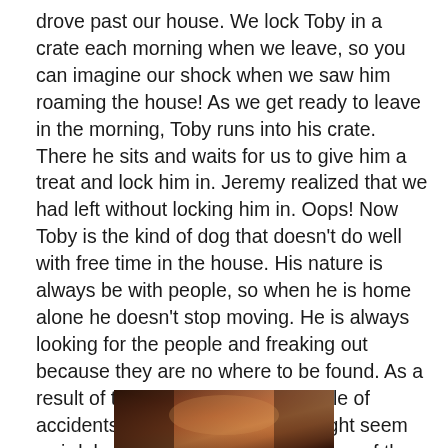drove past our house. We lock Toby in a crate each morning when we leave, so you can imagine our shock when we saw him roaming the house! As we get ready to leave in the morning, Toby runs into his crate. There he sits and waits for us to give him a treat and lock him in. Jeremy realized that we had left without locking him in. Oops! Now Toby is the kind of dog that doesn't do well with free time in the house. His nature is always be with people, so when he is home alone he doesn't stop moving. He is always looking for the people and freaking out because they are no where to be found. As a result of the stress, we had a couple of accidents waiting for us. Yes, it might seem weird, but our dog loves the structure of the crate. I can't believe we forgot to lock him in when we left! Oh well – one of the side effects of VBA brain!
[Figure (photo): Partial photo visible at bottom of page, appears to show a dog or animal, warm brown/orange tones]